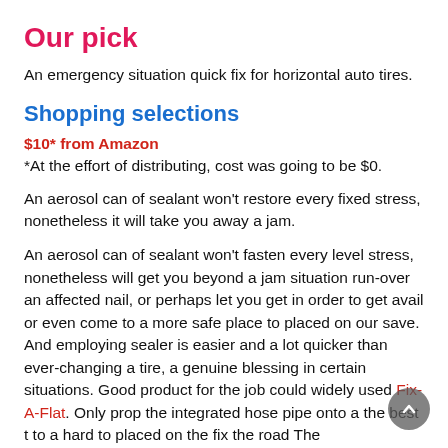Our pick
An emergency situation quick fix for horizontal auto tires.
Shopping selections
$10* from Amazon
*At the effort of distributing, cost was going to be $0.
An aerosol can of sealant won't restore every fixed stress, nonetheless it will take you away a jam.
An aerosol can of sealant won't fasten every level stress, nonetheless will get you beyond a jam situation run-over an affected nail, or perhaps let you get in order to get avail or even come to a more safe place to placed on our save. And employing sealer is easier and a lot quicker than ever-changing a tire, a genuine blessing in certain situations. Good product for the job could widely used Fix-A-Flat. Only prop the integrated hose pipe onto a the best t to a hard to placed on the fix the road The